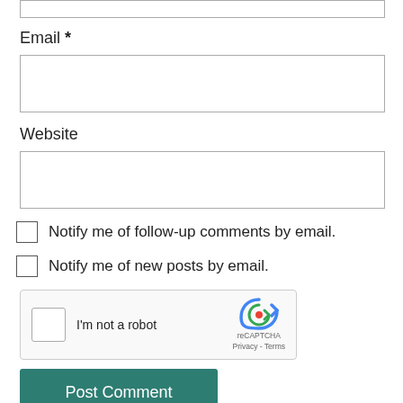Email *
(Email input box)
Website
(Website input box)
Notify me of follow-up comments by email.
Notify me of new posts by email.
[Figure (other): reCAPTCHA widget with checkbox labeled 'I'm not a robot' and reCAPTCHA logo with Privacy and Terms links]
Post Comment